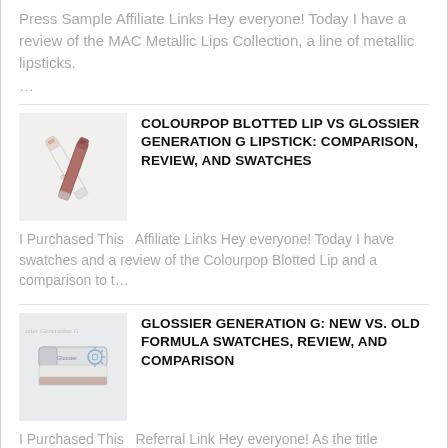Press Sample  Affiliate Links  Hey everyone! Today I have a review of the MAC Metallic Lips Collection, a line of metallic lipsticks. ...
[Figure (photo): Photo of two Glossier lipsticks (Colourpop Blotted Lip vs Glossier Generation G), one white pencil-style and one dark mauve, crossed over each other on a white background]
COLOURPOP BLOTTED LIP VS GLOSSIER GENERATION G LIPSTICK: COMPARISON, REVIEW, AND SWATCHES
I Purchased This   Affiliate Links Hey everyone! Today I have swatches and a review of the Colourpop Blotted Lip and a comparison to t...
[Figure (photo): Photo of Glossier Generation G lipstick products, white elongated tube shape with swatch strip and line drawing of flower, text reading Glossier Generation G]
GLOSSIER GENERATION G: NEW VS. OLD FORMULA SWATCHES, REVIEW, AND COMPARISON
I Purchased This   Referral Link Hey everyone! As the title suggests, I'm going to be talking about